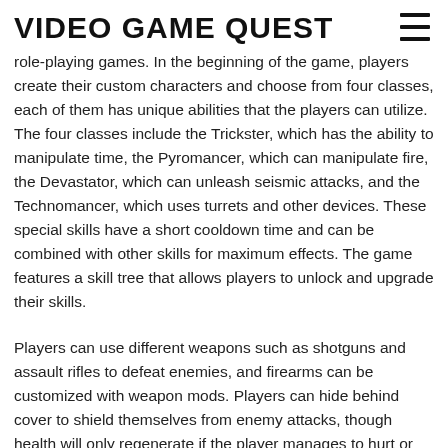VIDEO GAME QUEST
role-playing games. In the beginning of the game, players create their custom characters and choose from four classes, each of them has unique abilities that the players can utilize. The four classes include the Trickster, which has the ability to manipulate time, the Pyromancer, which can manipulate fire, the Devastator, which can unleash seismic attacks, and the Technomancer, which uses turrets and other devices. These special skills have a short cooldown time and can be combined with other skills for maximum effects. The game features a skill tree that allows players to unlock and upgrade their skills.
Players can use different weapons such as shotguns and assault rifles to defeat enemies, and firearms can be customized with weapon mods. Players can hide behind cover to shield themselves from enemy attacks, though health will only regenerate if the player manages to hurt or kill enemies. Players combat both monsters and human enemies. As the player